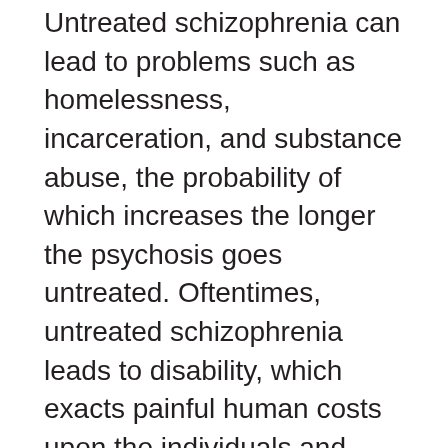Untreated schizophrenia can lead to problems such as homelessness, incarceration, and substance abuse, the probability of which increases the longer the psychosis goes untreated. Oftentimes, untreated schizophrenia leads to disability, which exacts painful human costs upon the individuals and their families, as well as substantial financial costs to individuals, families, and the healthcare and social service systems.
Started in 2013, the OnTrackNY program provides an innovative, evidence-based, team approach to providing recovery-oriented treatment to young people who have recently begun experiencing psychotic symptoms. OnTrackNY helps young adults with newly emerged psychotic disorders achieve